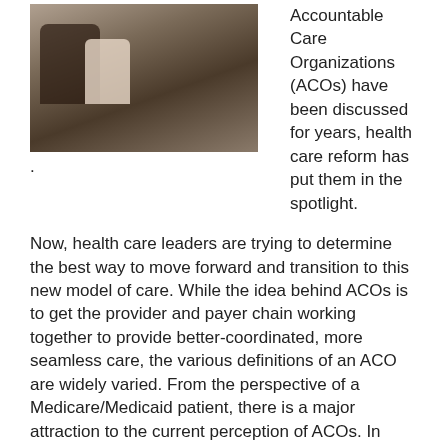[Figure (photo): Group of healthcare professionals sitting around a table in a meeting or conference room, reviewing documents.]
Accountable Care Organizations (ACOs) have been discussed for years, health care reform has put them in the spotlight. Now, health care leaders are trying to determine the best way to move forward and transition to this new model of care. While the idea behind ACOs is to get the provider and payer chain working together to provide better-coordinated, more seamless care, the various definitions of an ACO are widely varied. From the perspective of a Medicare/Medicaid patient, there is a major attraction to the current perception of ACOs. In principle, patients should have a reasonable expectation of higher quality care delivered at a lower cost if they choose a provider enrolled in an ACO.
From the provider and insurance standpoint, the choice to form or join an ACO is not quite as clear cut. On the upside, any provider or insurer that is part of an ACO could see